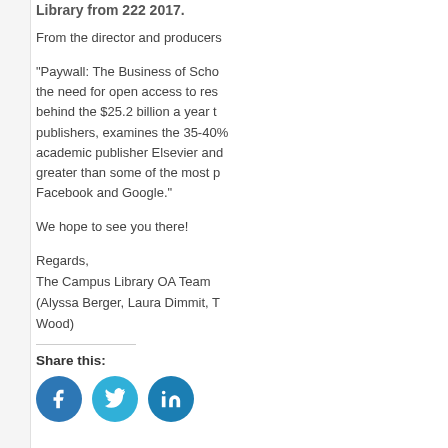Library from 222 2017.
From the director and producers
“Paywall: The Business of Scho the need for open access to res behind the $25.2 billion a year t publishers, examines the 35-40% academic publisher Elsevier and greater than some of the most p Facebook and Google.”
We hope to see you there!
Regards,
The Campus Library OA Team
(Alyssa Berger, Laura Dimmit, T Wood)
Share this: